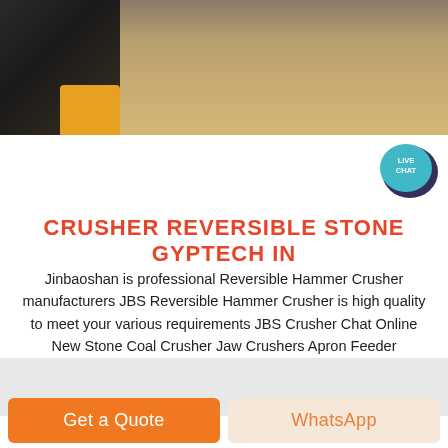[Figure (photo): Partial view of construction/mining equipment (yellow and black) on a dry dusty ground, cropped at top of page.]
[Figure (infographic): Live Chat speech bubble icon in teal/dark blue with white text LIVE CHAT.]
CRUSHER REVERSIBLE STONE GYPTECH IN
Jinbaoshan is professional Reversible Hammer Crusher manufacturers JBS Reversible Hammer Crusher is high quality to meet your various requirements JBS Crusher Chat Online New Stone Coal Crusher Jaw Crushers Apron Feeder Reversible Jaw Crushers Stone Coal Crusher Belt Conveyor Bucket Elevator Apron Feeder Chat Online New
Get a Quote
WhatsApp